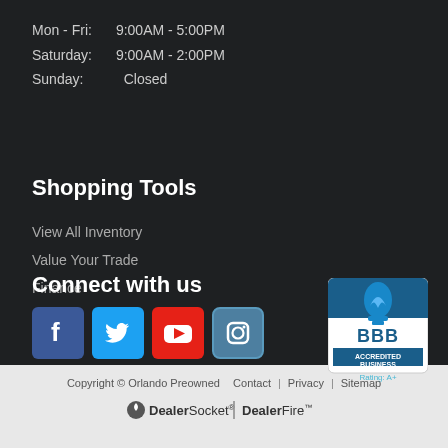Mon - Fri:  9:00AM - 5:00PM
Saturday:  9:00AM - 2:00PM
Sunday:    Closed
Shopping Tools
View All Inventory
Value Your Trade
Finance
Service
Connect with us
[Figure (logo): Social media icons: Facebook, Twitter, YouTube, Instagram]
[Figure (logo): BBB Accredited Business badge, Rating A+]
Copyright © Orlando Preowned   Contact  |  Privacy  |  Sitemap
[Figure (logo): DealerSocket and DealerFire logos]